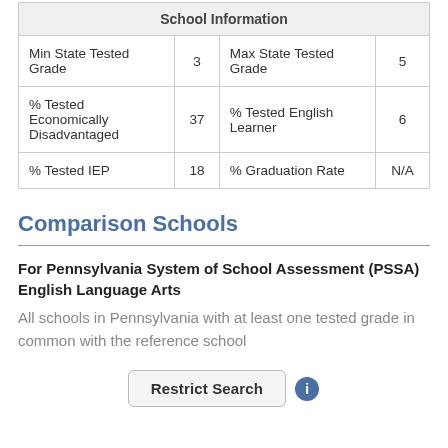| School Information |
| --- |
| Min State Tested Grade | 3 | Max State Tested Grade | 5 |
| % Tested Economically Disadvantaged | 37 | % Tested English Learner | 6 |
| % Tested IEP | 18 | % Graduation Rate | N/A |
Comparison Schools
For Pennsylvania System of School Assessment (PSSA) English Language Arts
All schools in Pennsylvania with at least one tested grade in common with the reference school
Restrict Search